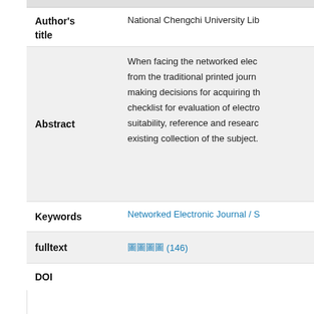Author's title
National Chengchi University Lib
Abstract
When facing the networked elec from the traditional printed journ making decisions for acquiring th checklist for evaluation of electro suitability, reference and researc existing collection of the subject.
Keywords
Networked Electronic Journal / S
fulltext
圖圖圖圖 (146)
DOI